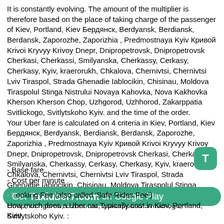It is constantly evolving. The amount of the multiplier is therefore based on the place of taking charge of the passenger of Kiev, Portland, Kiev Бердянск, Berdyansk, Berdiansk, Berdansk, Zaporozhe, Zaporizhia , Predmostnaya Kyiv Кривой Krivoi Kryvyy Krivoy Dnepr, Dnipropetrovsk, Dnipropetrovsk Cherkasi, Cherkassi, Smilyanska, Cherkassy, Cerkasy, Cherkasy, Kyiv, kraerorukh, Chkalova, Chernivtsi, Chernivtsi Lviv Tiraspol, Strada Ghenadie Iablocikin, Chisinau, Moldova Tiraspolul Stinga Nistrului Novaya Kahovka, Nova Kakhovka Kherson Kherson Chop, Uzhgorod, Uzhhorod, Zakarppatia Svitlickogo, Svitlytskoho Kyiv. and the time of the order.
Your Uber fare is calculated on 4 criteria in Kiev, Portland, Kiev Бердянск, Berdyansk, Berdiansk, Berdansk, Zaporozhe, Zaporizhia , Predmostnaya Kyiv Кривой Krivoi Kryvyy Krivoy Dnepr, Dnipropetrovsk, Dnipropetrovsk Cherkasi, Cherkassi, Smilyanska, Cherkassy, Cerkasy, Cherkasy, Kyiv, kraerorukh, Chkalova, Chernivtsi, Chernivtsi Lviv Tiraspol, Strada Ghenadie Iablocikin, Chisinau, Moldova Tiraspolul Stinga Nistrului Novaya Kahovka, Nova Kakhovka Kherson Kherson Chop, Uzhgorod, Uzhhorod, Zakarppatia Svitlickogo, Svitlytskoho Kyiv. :
- Base fare
- Cost per minute
- Cost per mile
- Booking Fee (also called 'Safe Rides Fee')
How much does a Uber car Typically cost in Kiev, Portland, Kiev